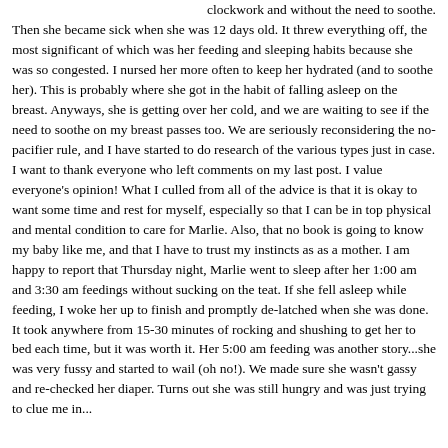clockwork and without the need to soothe. Then she became sick when she was 12 days old. It threw everything off, the most significant of which was her feeding and sleeping habits because she was so congested. I nursed her more often to keep her hydrated (and to soothe her). This is probably where she got in the habit of falling asleep on the breast. Anyways, she is getting over her cold, and we are waiting to see if the need to soothe on my breast passes too. We are seriously reconsidering the no-pacifier rule, and I have started to do research of the various types just in case. I want to thank everyone who left comments on my last post. I value everyone's opinion! What I culled from all of the advice is that it is okay to want some time and rest for myself, especially so that I can be in top physical and mental condition to care for Marlie. Also, that no book is going to know my baby like me, and that I have to trust my instincts as as a mother. I am happy to report that Thursday night, Marlie went to sleep after her 1:00 am and 3:30 am feedings without sucking on the teat. If she fell asleep while feeding, I woke her up to finish and promptly de-latched when she was done. It took anywhere from 15-30 minutes of rocking and shushing to get her to bed each time, but it was worth it. Her 5:00 am feeding was another story...she was very fussy and started to wail (oh no!). We made sure she wasn't gassy and re-checked her diaper. Turns out she was still hungry and was just trying to clue me in...